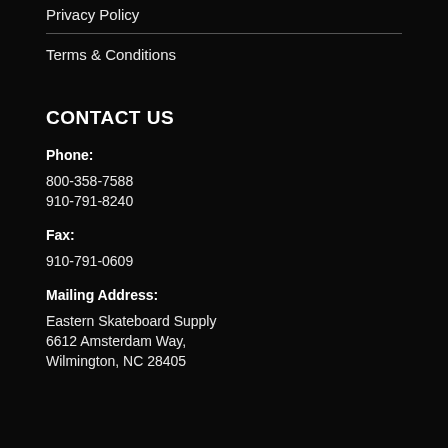Privacy Policy
Terms & Conditions
CONTACT US
Phone:
800-358-7588
910-791-8240
Fax:
910-791-0609
Mailing Address:
Eastern Skateboard Supply
6612 Amsterdam Way,
Wilmington, NC 28405